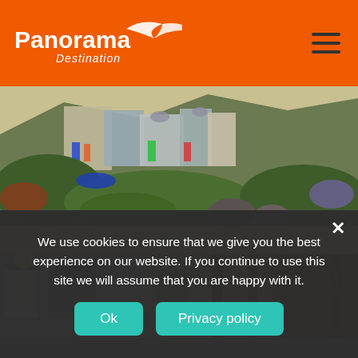Panorama Destination
[Figure (photo): Outdoor scenic photo showing colorful buildings on a hillside with lush green vegetation, rocks, and a blue boat visible among the foliage]
[Figure (photo): Interior hallway of a hostel or lodge with wooden bunk beds on the right, artwork on the walls, corridor extending into the distance with warm lighting]
We use cookies to ensure that we give you the best experience on our website. If you continue to use this site we will assume that you are happy with it.